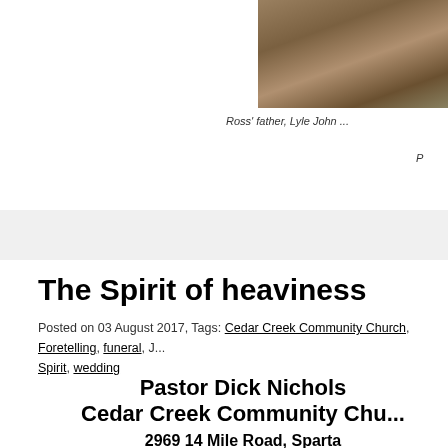[Figure (photo): Partial photo showing wood floor/furniture, cropped at top-right corner of page]
Ross' father, Lyle John ...
P
The Spirit of heaviness
Posted on 03 August 2017, Tags: Cedar Creek Community Church, Foretelling, funeral, J... Spirit, wedding
Pastor Dick Nichols
Cedar Creek Community Chu...
2969 14 Mile Road, Sparta
Foretelling the coming of Jesus Christ, the prophet Isaiah really hits home with the... appoint unto them that mourn in Zion, to give unto them beauty for ashes, the oil of... garment of praise for the spirit of heaviness; that they might be called trees of righ... Lord, that he might be glorified” (Isaiah 61:3 –King James translation).